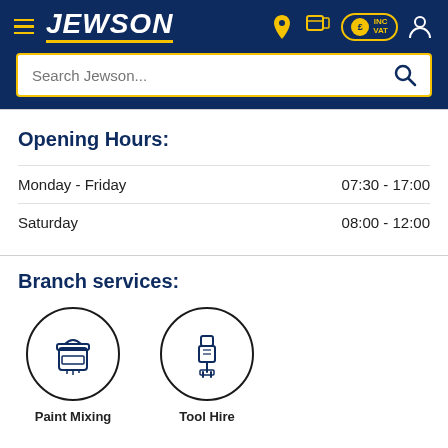[Figure (screenshot): Jewson website header with logo, hamburger menu, location pin, trolley, INC VAT, and user icons on dark blue background, plus search bar with yellow border]
Opening Hours:
| Monday - Friday | 07:30 - 17:00 |
| Saturday | 08:00 - 12:00 |
Branch services:
[Figure (illustration): Paint Mixing service icon - paint bucket inside a circle]
Paint Mixing
[Figure (illustration): Tool Hire service icon - drill/tool inside a circle]
Tool Hire